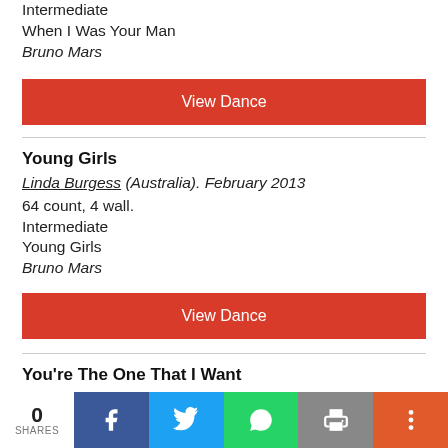Intermediate
When I Was Your Man
Bruno Mars
View Dance
Young Girls
Linda Burgess (Australia). February 2013
64 count, 4 wall.
Intermediate
Young Girls
Bruno Mars
View Dance
You're The One That I Want
Linda Burgess (Australia). June 2002
32 count, 4 wall.
Intermediate
0 SHARES | Facebook | Twitter | WhatsApp | Print | More